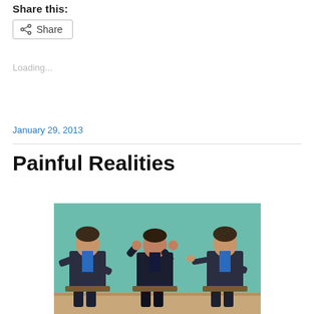Share this:
Share
Loading...
January 29, 2013
Painful Realities
[Figure (photo): Three men in dark suits and blue ties seated in chairs against a teal/green wall. The man on the left gestures with hands open, the man in the center covers his ears with both hands, and the man on the right points a finger toward the center man.]